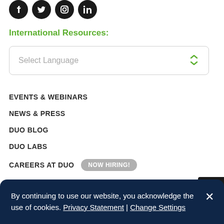[Figure (illustration): Four social media icons (Facebook, Twitter, Instagram, LinkedIn) as black circles]
International Resources:
[Figure (screenshot): Select Language dropdown box with green chevron arrows]
EVENTS & WEBINARS
NEWS & PRESS
DUO BLOG
DUO LABS
CAREERS AT DUO  NOW HIRING!
By continuing to use our website, you acknowledge the use of cookies. Privacy Statement | Change Settings